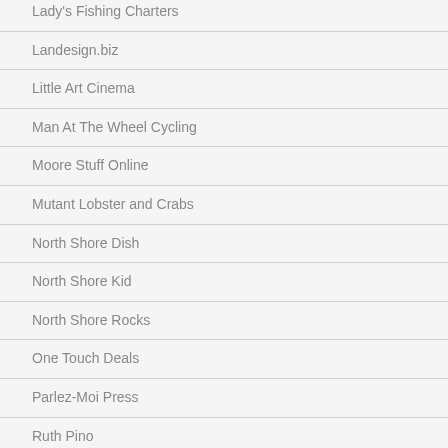Lady's Fishing Charters
Landesign.biz
Little Art Cinema
Man At The Wheel Cycling
Moore Stuff Online
Mutant Lobster and Crabs
North Shore Dish
North Shore Kid
North Shore Rocks
One Touch Deals
Parlez-Moi Press
Ruth Pino
Sargent House Museum